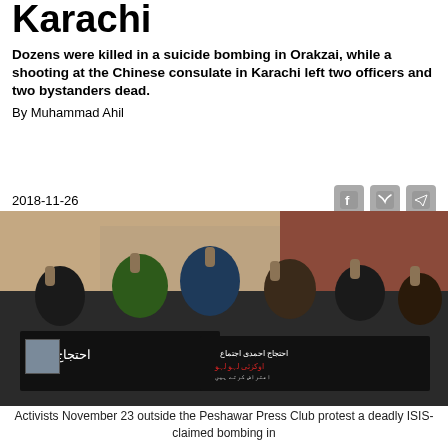Karachi
Dozens were killed in a suicide bombing in Orakzai, while a shooting at the Chinese consulate in Karachi left two officers and two bystanders dead.
By Muhammad Ahil
2018-11-26
[Figure (photo): A group of activists with raised fists holding protest banners with Urdu text, standing outside what appears to be a press club building.]
Activists November 23 outside the Peshawar Press Club protest a deadly ISIS-claimed bombing in